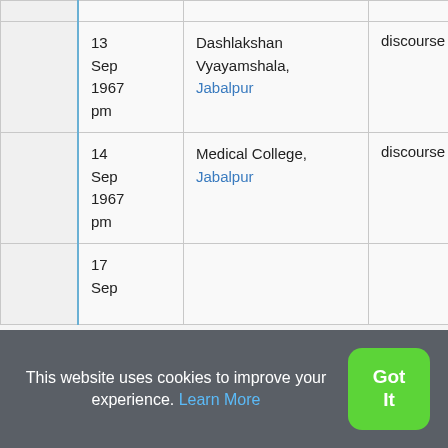|  | Date | Venue | Type | Language |
| --- | --- | --- | --- | --- |
|  |  |  |  |  |
|  | 13 Sep 1967 pm | Dashlakshan Vyayamshala, Jabalpur | discourse | Hindi |
|  | 14 Sep 1967 pm | Medical College, Jabalpur | discourse | Hindi |
|  | 17 Sep ... |  |  |  |
This website uses cookies to improve your experience. Learn More